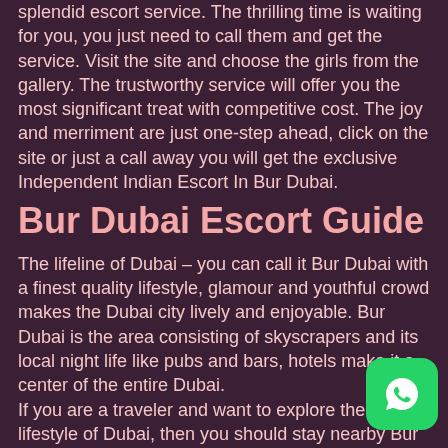splendid escort service. The thrilling time is waiting for you, you just need to call them and get the service. Visit the site and choose the girls from the gallery. The trustworthy service will offer you the most significant treat with competitive cost. The joy and merriment are just one-step ahead, click on the site or just a call away you will get the exclusive Independent Indian Escort In Bur Dubai.
Bur Dubai Escort Guide
The lifeline of Dubai – you can call it Bur Dubai with a finest quality lifestyle, glamour and youthful crowd makes the Dubai city lively and enjoyable. Bur Dubai is the area consisting of skyscrapers and its local night life like pubs and bars, hotels make it a center of the entire Dubai.
If you are a traveler and want to explore the real lifestyle of Dubai, then you should stay nearby Bur Dubai to experience too much closure to it.
Attending female escorts for fun and enjoyment is common in Bur Dubai as there are a lot of sex workers provides the best quality escort service to meet your expectations.